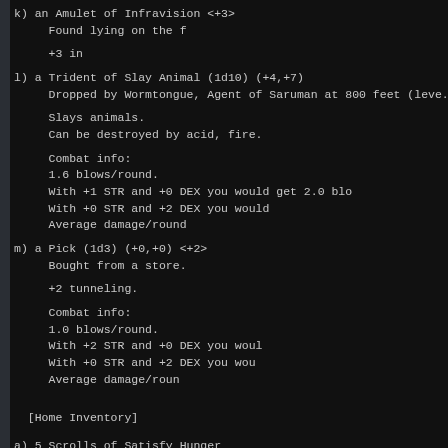k) an Amulet of Infravision <+3>
     Found lying on the f

     +3 in
l) a Trident of Slay Animal (1d10) (+4,+7)
     Dropped by Wormtongue, Agent of Saruman at 800 feet (leve.

     Slays animals.
     Can be destroyed by acid, fire.

     Combat info:
     1.6 blows/round.
     With +1 STR and +0 DEX you would get 2.0 blo
     With +0 STR and +2 DEX you would
     Average damage/round
m) a Pick (1d3) (+0,+0) <+2>
     Bought from a store.

     +2 tunneling.

     Combat info:
     1.0 blows/round.
     With +2 STR and +0 DEX you woul
     With +0 STR and +2 DEX you wou
     Average damage/roun
[Home Inventory]
a) 5 Scrolls of Satisfy Hunger
     Can be de
b) 2 Staves of Cure Light Wounds (18 charges)
     Can be de